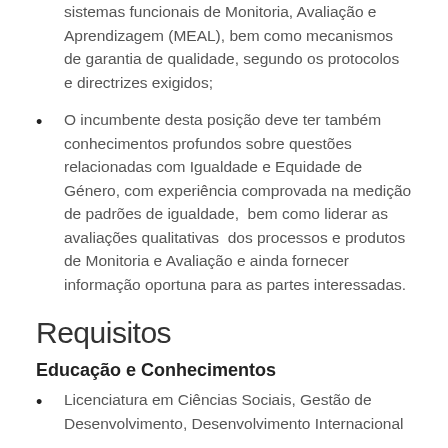Este será também responsável pela criação de sistemas funcionais de Monitoria, Avaliação e Aprendizagem (MEAL), bem como mecanismos de garantia de qualidade, segundo os protocolos e directrizes exigidos;
O incumbente desta posição deve ter também conhecimentos profundos sobre questões relacionadas com Igualdade e Equidade de Género, com experiência comprovada na medição de padrões de igualdade, bem como liderar as avaliações qualitativas dos processos e produtos de Monitoria e Avaliação e ainda fornecer informação oportuna para as partes interessadas.
Requisitos
Educação e Conhecimentos
Licenciatura em Ciências Sociais, Gestão de Desenvolvimento, Desenvolvimento Internacional